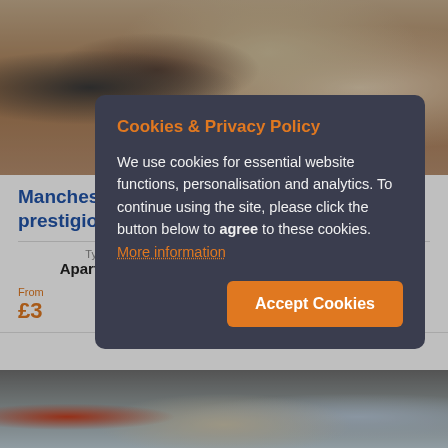[Figure (photo): Interior photo of a studio apartment showing kitchen area with appliances and living/sleeping area]
Manchester Tower – Studio Apartment at the prestigious Dubai Marina
Type: Apartment | Bedrooms: Studio | Sleeps: 2
From £3...
[Figure (photo): Interior photo showing a living room with fireplace and modern furniture]
Cookies & Privacy Policy
We use cookies for essential website functions, personalisation and analytics. To continue using the site, please click the button below to agree to these cookies. More information
[Accept Cookies button]